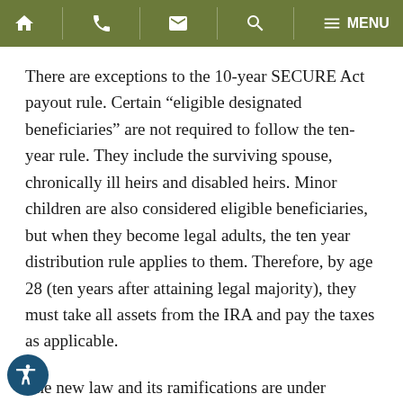Navigation bar with home, phone, email, search, and menu icons
There are exceptions to the 10-year SECURE Act payout rule. Certain “eligible designated beneficiaries” are not required to follow the ten-year rule. They include the surviving spouse, chronically ill heirs and disabled heirs. Minor children are also considered eligible beneficiaries, but when they become legal adults, the ten year distribution rule applies to them. Therefore, by age 28 (ten years after attaining legal majority), they must take all assets from the IRA and pay the taxes as applicable.
The new law and its ramifications are under intense scrutiny by members of the estate planning and elder law bar because of these and other changes. Speak with your estate planning attorney to review your estate plan to ensure that your goals will be achieved in light of these